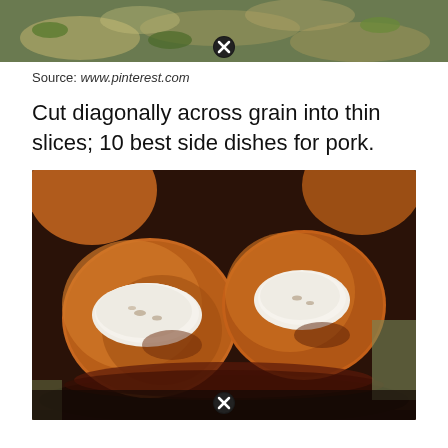[Figure (photo): Partial food photo at top of page showing green herb-garnished dish, partially cropped, with a close button overlay]
Source: www.pinterest.com
Cut diagonally across grain into thin slices; 10 best side dishes for pork.
[Figure (photo): Photo of roasted or baked fruit (peaches or plums) topped with cream/mascarpone in a dark cast iron pan, with a close button at the bottom]